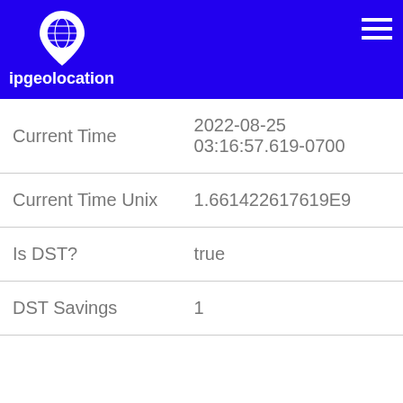[Figure (logo): ipgeolocation logo with globe pin icon and site name text in white on blue background]
| Current Time | 2022-08-25
03:16:57.619-0700 |
| Current Time Unix | 1.661422617619E9 |
| Is DST? | true |
| DST Savings | 1 |